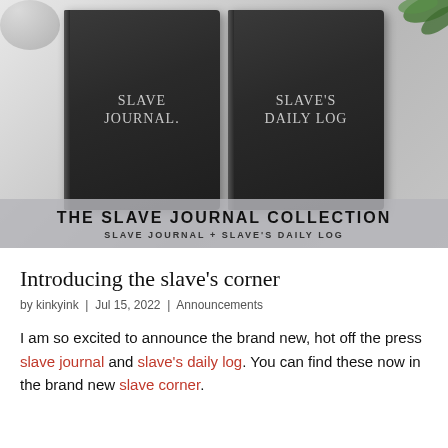[Figure (photo): Product photo of two dark hardcover books titled 'Slave Journal' and 'Slave's Daily Log' on a white wood surface with decorative plant and bowl, overlaid with a semi-transparent banner reading 'THE SLAVE JOURNAL COLLECTION / SLAVE JOURNAL + SLAVE'S DAILY LOG']
Introducing the slave's corner
by kinkyink  |  Jul 15, 2022  |  Announcements
I am so excited to announce the brand new, hot off the press slave journal and slave's daily log. You can find these now in the brand new slave corner.